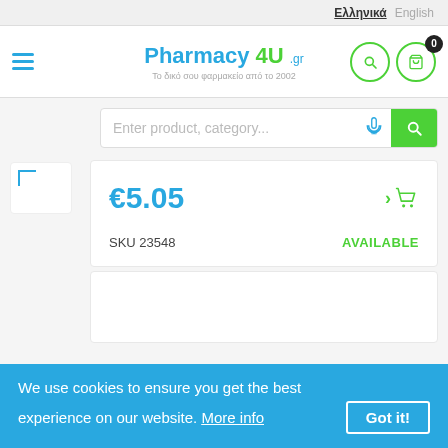Ελληνικά  English
[Figure (logo): Pharmacy 4U .gr logo with tagline 'Το δικό σου φαρμακείο από το 2002']
Enter product, category...
€5.05
SKU 23548  AVAILABLE
We use cookies to ensure you get the best experience on our website. More info  Got it!